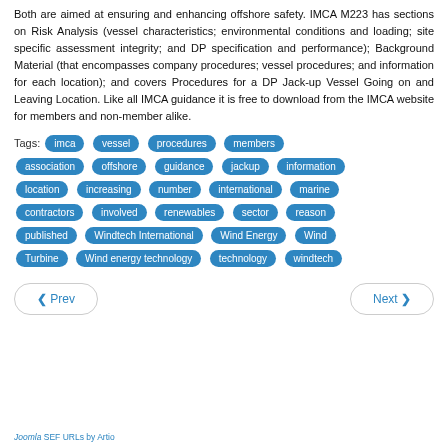Both are aimed at ensuring and enhancing offshore safety. IMCA M223 has sections on Risk Analysis (vessel characteristics; environmental conditions and loading; site specific assessment integrity; and DP specification and performance); Background Material (that encompasses company procedures; vessel procedures; and information for each location); and covers Procedures for a DP Jack-up Vessel Going on and Leaving Location. Like all IMCA guidance it is free to download from the IMCA website for members and non-member alike.
Tags: imca vessel procedures members association offshore guidance jackup information location increasing number international marine contractors involved renewables sector reason published Windtech International Wind Energy Wind Turbine Wind energy technology technology windtech
Prev
Next
Joomla SEF URLs by Artio